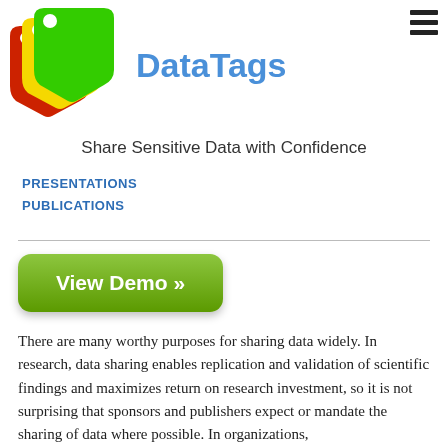[Figure (logo): DataTags logo: stacked price-tag shapes in red, yellow, green with a circular cutout, followed by 'DataTags' in blue text]
Share Sensitive Data with Confidence
PRESENTATIONS
PUBLICATIONS
[Figure (other): Green rounded button labeled 'View Demo »']
There are many worthy purposes for sharing data widely. In research, data sharing enables replication and validation of scientific findings and maximizes return on research investment, so it is not surprising that sponsors and publishers expect or mandate the sharing of data where possible. In organizations,